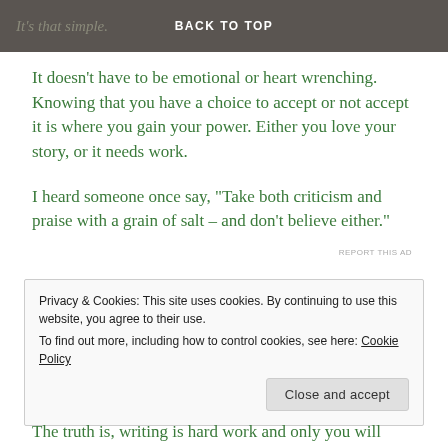It's that simple.   BACK TO TOP
It doesn't have to be emotional or heart wrenching. Knowing that you have a choice to accept or not accept it is where you gain your power. Either you love your story, or it needs work.
I heard someone once say, “Take both criticism and praise with a grain of salt – and don’t believe either.”
REPORT THIS AD
Privacy & Cookies: This site uses cookies. By continuing to use this website, you agree to their use.
To find out more, including how to control cookies, see here: Cookie Policy
Close and accept
The truth is, writing is hard work and only you will know